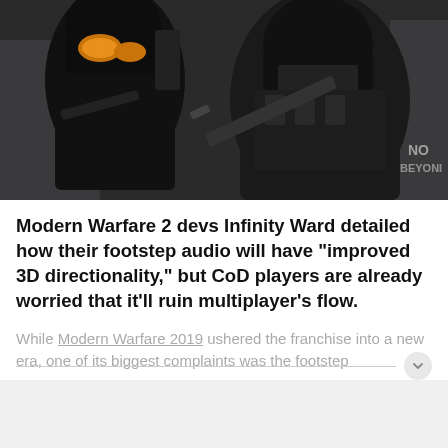[Figure (photo): Two armed soldiers in black tactical gear and helmets, one wearing orange-tinted goggles, from Call of Duty Modern Warfare 2 game screenshot]
Modern Warfare 2 devs Infinity Ward detailed how their footstep audio will have “improved 3D directionality,” but CoD players are already worried that it’ll ruin multiplayer’s flow.
While Modern Warfare 2019 ushered the franchise into a new era, one of its biggest complaints was the footstep